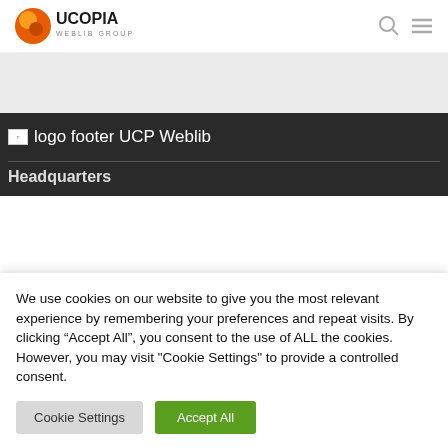UCOPIA WEBLIB GROUP
[Figure (logo): UCOPIA Weblib Group logo with orange leaf/globe icon and dark text]
logo footer UCP Weblib
Headquarters
We use cookies on our website to give you the most relevant experience by remembering your preferences and repeat visits. By clicking “Accept All”, you consent to the use of ALL the cookies. However, you may visit "Cookie Settings" to provide a controlled consent.
Cookie Settings | Accept All